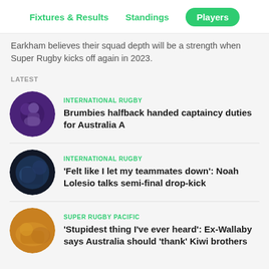Fixtures & Results | Standings | Players
Earkham believes their squad depth will be a strength when Super Rugby kicks off again in 2023.
LATEST
INTERNATIONAL RUGBY — Brumbies halfback handed captaincy duties for Australia A
INTERNATIONAL RUGBY — 'Felt like I let my teammates down': Noah Lolesio talks semi-final drop-kick
SUPER RUGBY PACIFIC — 'Stupidest thing I've ever heard': Ex-Wallaby says Australia should 'thank' Kiwi brothers